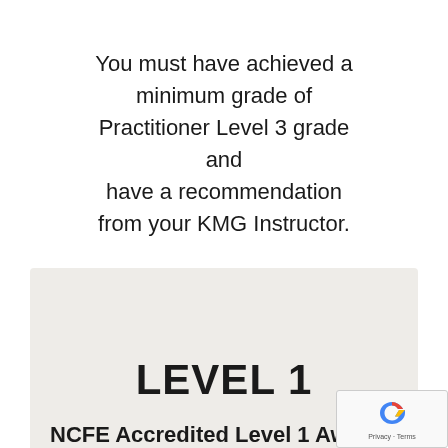You must have achieved a minimum grade of Practitioner Level 3 grade and have a recommendation from your KMG Instructor.
LEVEL 1
NCFE Accredited Level 1 Award i...